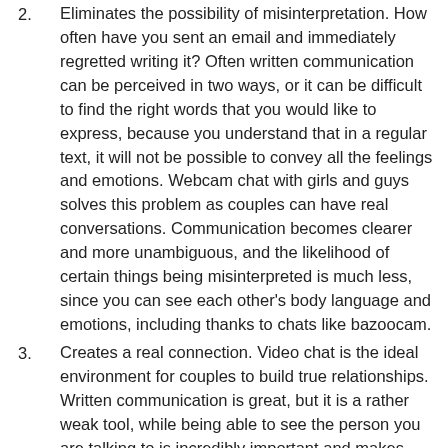2. Eliminates the possibility of misinterpretation. How often have you sent an email and immediately regretted writing it? Often written communication can be perceived in two ways, or it can be difficult to find the right words that you would like to express, because you understand that in a regular text, it will not be possible to convey all the feelings and emotions. Webcam chat with girls and guys solves this problem as couples can have real conversations. Communication becomes clearer and more unambiguous, and the likelihood of certain things being misinterpreted is much less, since you can see each other's body language and emotions, including thanks to chats like bazoocam.
3. Creates a real connection. Video chat is the ideal environment for couples to build true relationships. Written communication is great, but it is a rather weak tool, while being able to see the person you are talking to is incredibly important and makes